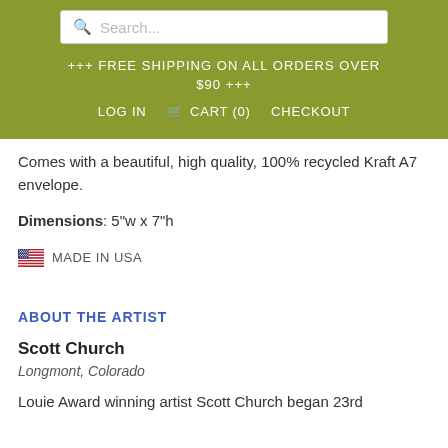Search...
+++ FREE SHIPPING ON ALL ORDERS OVER $90 +++
LOG IN   CART (0)   CHECKOUT
Comes with a beautiful, high quality, 100% recycled Kraft A7 envelope.
Dimensions: 5"w x 7"h
MADE IN USA
ABOUT THE ARTIST
Scott Church
Longmont, Colorado
Louie Award winning artist Scott Church began 23rd